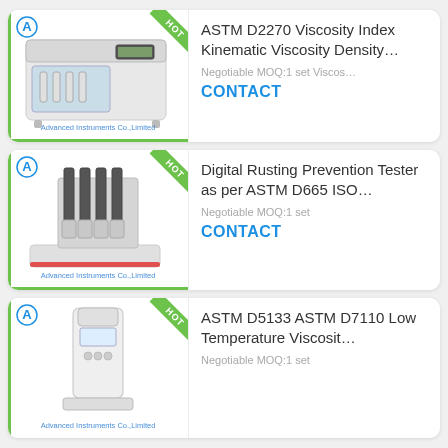[Figure (photo): Product card 1: ASTM D2270 Viscosity Index Kinematic Viscosity Density tester machine by Advanced Instruments Co., Limited. Shows a white lab instrument with multiple test tubes. HOT badge in green. Logo with blue letter A.]
ASTM D2270 Viscosity Index Kinematic Viscosity Density...
Negotiable MOQ:1 set Viscos...
CONTACT
[Figure (photo): Product card 2: Digital Rusting Prevention Tester as per ASTM D665 ISO tester by Advanced Instruments Co., Limited. Shows a white instrument with four upright test probes. HOT badge in green.]
Digital Rusting Prevention Tester as per ASTM D665 ISO...
Negotiable MOQ:1 set
CONTACT
[Figure (photo): Product card 3 (partial): ASTM D5133 ASTM D7110 Low Temperature Viscosit... by Advanced Instruments Co., Limited. Shows a white vertical instrument. HOT badge in green.]
ASTM D5133 ASTM D7110 Low Temperature Viscosit...
Negotiable MOQ:1 set